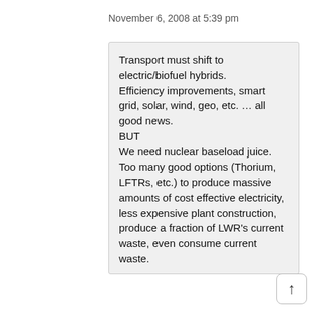November 6, 2008 at 5:39 pm
Transport must shift to electric/biofuel hybrids.
Efficiency improvements, smart grid, solar, wind, geo, etc. … all good news.
BUT
We need nuclear baseload juice. Too many good options (Thorium, LFTRs, etc.) to produce massive amounts of cost effective electricity, less expensive plant construction, produce a fraction of LWR's current waste, even consume current waste.